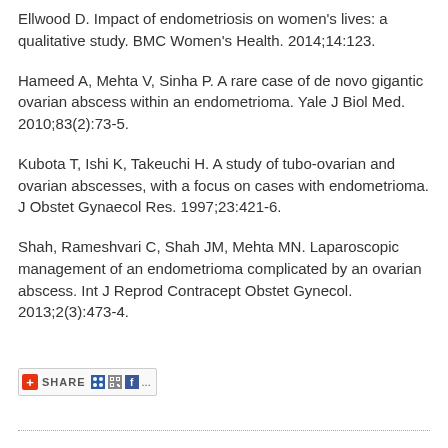Ellwood D. Impact of endometriosis on women's lives: a qualitative study. BMC Women's Health. 2014;14:123.
Hameed A, Mehta V, Sinha P. A rare case of de novo gigantic ovarian abscess within an endometrioma. Yale J Biol Med. 2010;83(2):73-5.
Kubota T, Ishi K, Takeuchi H. A study of tubo-ovarian and ovarian abscesses, with a focus on cases with endometrioma. J Obstet Gynaecol Res. 1997;23:421-6.
Shah, Rameshvari C, Shah JM, Mehta MN. Laparoscopic management of an endometrioma complicated by an ovarian abscess. Int J Reprod Contracept Obstet Gynecol. 2013;2(3):473-4.
[Figure (other): Social share widget with SHARE button and social media icons (dot, QR, Facebook, and more)]